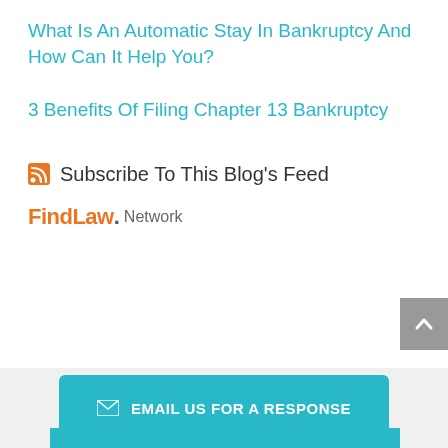What Is An Automatic Stay In Bankruptcy And How Can It Help You?
3 Benefits Of Filing Chapter 13 Bankruptcy
Subscribe To This Blog's Feed
[Figure (logo): FindLaw Network logo with orange FindLaw text and grey Network text]
EMAIL US FOR A RESPONSE
Keep In Touch